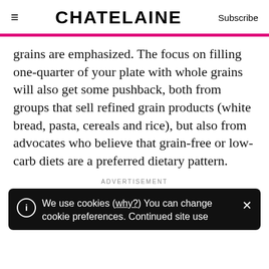≡  CHATELAINE  Subscribe
grains are emphasized. The focus on filling one-quarter of your plate with whole grains will also get some pushback, both from groups that sell refined grain products (white bread, pasta, cereals and rice), but also from advocates who believe that grain-free or low-carb diets are a preferred dietary pattern.
ADVERTISEMENT
We use cookies (why?) You can change cookie preferences. Continued site use